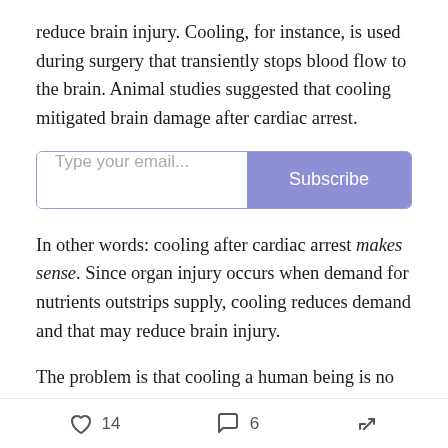reduce brain injury. Cooling, for instance, is used during surgery that transiently stops blood flow to the brain. Animal studies suggested that cooling mitigated brain damage after cardiac arrest.
In other words: cooling after cardiac arrest makes sense. Since organ injury occurs when demand for nutrients outstrips supply, cooling reduces demand and that may reduce brain injury.
The problem is that cooling a human being is no small thing. Getting down to 33 degrees requires placing the patient on a cooling system, with pads wrapped around
♡ 14   💬 6   ↗